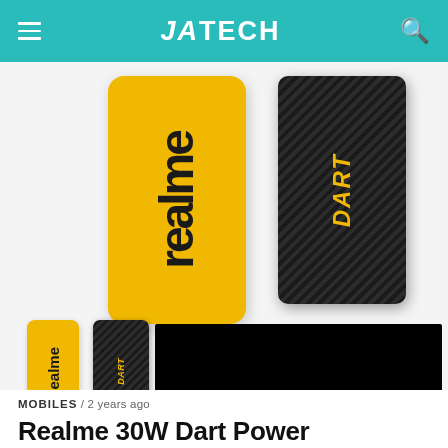JATECH
[Figure (photo): Two Realme power banks shown upright: a yellow one with 'realme' branding and a black carbon-fiber-textured one with 'DART' branding in yellow. Below, smaller versions of both power banks are shown horizontally alongside a wide black strip.]
MOBILES / 2 years ago
Realme 30W Dart Power